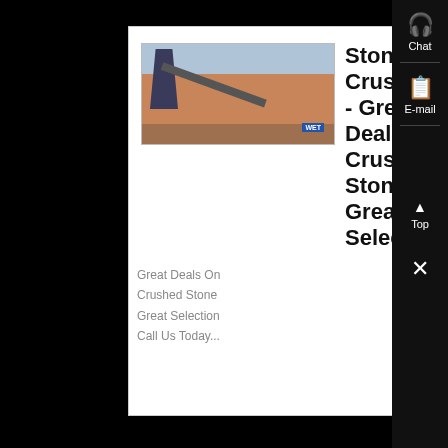[Figure (photo): Outdoor stone crushing industrial facility with conveyor belts and red/orange soil ground, palm trees in background, machinery on the left side, small blue label overlay in bottom-right of photo.]
Stone Crushed - Great Deals On Crushed Stone Great Selection
Great Deals On
Crushed Stone
Great Selection
Call Us Today...
Know More